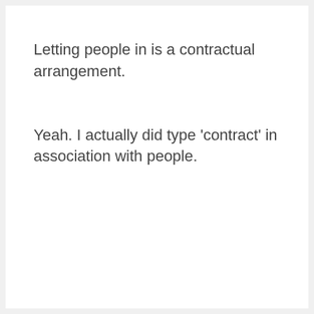Letting people in is a contractual arrangement.
Yeah. I actually did type 'contract' in association with people.